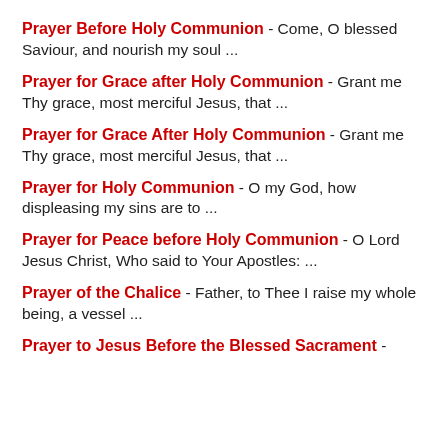Prayer Before Holy Communion - Come, O blessed Saviour, and nourish my soul ...
Prayer for Grace after Holy Communion - Grant me Thy grace, most merciful Jesus, that ...
Prayer for Grace After Holy Communion - Grant me Thy grace, most merciful Jesus, that ...
Prayer for Holy Communion - O my God, how displeasing my sins are to ...
Prayer for Peace before Holy Communion - O Lord Jesus Christ, Who said to Your Apostles: ...
Prayer of the Chalice - Father, to Thee I raise my whole being, a vessel ...
Prayer to Jesus Before the Blessed Sacrament -